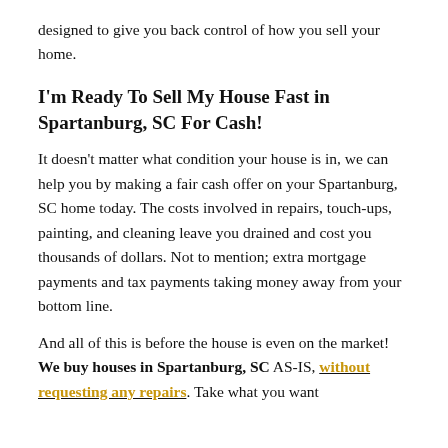designed to give you back control of how you sell your home.
I'm Ready To Sell My House Fast in Spartanburg, SC For Cash!
It doesn't matter what condition your house is in, we can help you by making a fair cash offer on your Spartanburg, SC home today. The costs involved in repairs, touch-ups, painting, and cleaning leave you drained and cost you thousands of dollars. Not to mention; extra mortgage payments and tax payments taking money away from your bottom line.
And all of this is before the house is even on the market! We buy houses in Spartanburg, SC AS-IS, without requesting any repairs. Take what you want